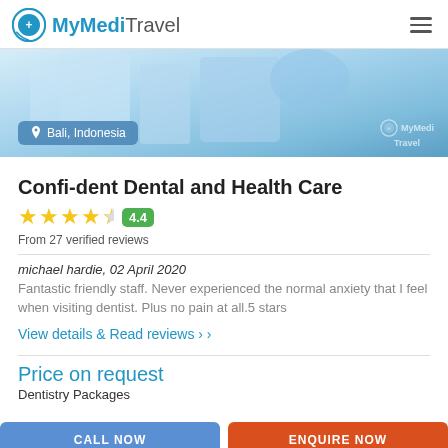MyMediTravel
[Figure (photo): Hero image of a dental/medical clinic interior with blue tones, location badge 'Bali, Indonesia' and MyMediTravel watermark logo]
Confi-dent Dental and Health Care
4.4 From 27 verified reviews
michael hardie, 02 April 2020
Fantastic friendly staff. Never experienced the normal anxiety that I feel when visiting dentist. Plus no pain at all.5 stars
View details & Read reviews
Price on request
Dentistry Packages
CALL NOW
ENQUIRE NOW